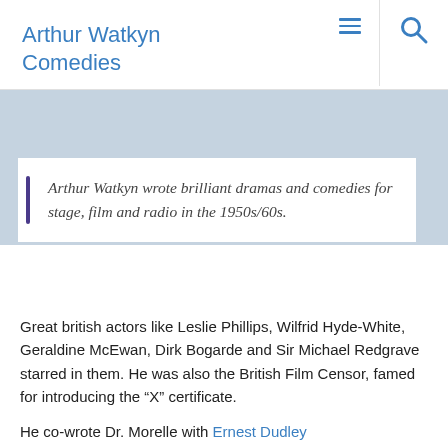Arthur Watkyn Comedies
Arthur Watkyn wrote brilliant dramas and comedies for stage, film and radio in the 1950s/60s.
Great british actors like Leslie Phillips, Wilfrid Hyde-White, Geraldine McEwan, Dirk Bogarde and Sir Michael Redgrave starred in them. He was also the British Film Censor, famed for introducing the “X” certificate.
He co-wrote Dr. Morelle with Ernest Dudley